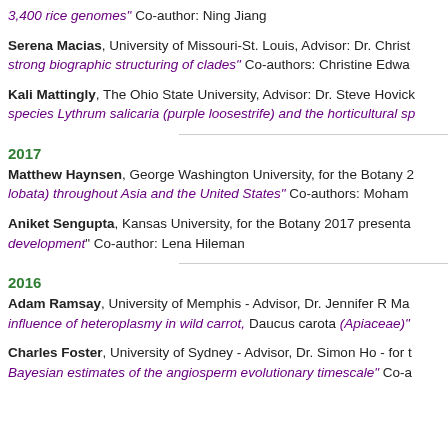3,400 rice genomes" Co-author: Ning Jiang
Serena Macias, University of Missouri-St. Louis, Advisor: Dr. Christ... strong biographic structuring of clades" Co-authors: Christine Edwa...
Kali Mattingly, The Ohio State University, Advisor: Dr. Steve Hovick... species Lythrum salicaria (purple loosestrife) and the horticultural sp...
2017
Matthew Haynsen, George Washington University, for the Botany 2... lobata) throughout Asia and the United States" Co-authors: Moham...
Aniket Sengupta, Kansas University, for the Botany 2017 presenta... development" Co-author: Lena Hileman
2016
Adam Ramsay, University of Memphis - Advisor, Dr. Jennifer R Ma... influence of heteroplasmy in wild carrot, Daucus carota (Apiaceae)"
Charles Foster, University of Sydney - Advisor, Dr. Simon Ho - for t... Bayesian estimates of the angiosperm evolutionary timescale" Co-a...